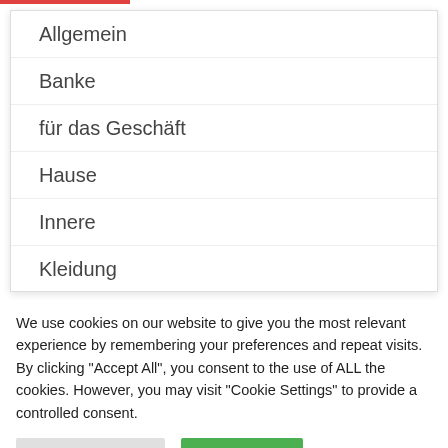Allgemein
Banke
für das Geschäft
Hause
Innere
Kleidung
Leuchte
We use cookies on our website to give you the most relevant experience by remembering your preferences and repeat visits. By clicking "Accept All", you consent to the use of ALL the cookies. However, you may visit "Cookie Settings" to provide a controlled consent.